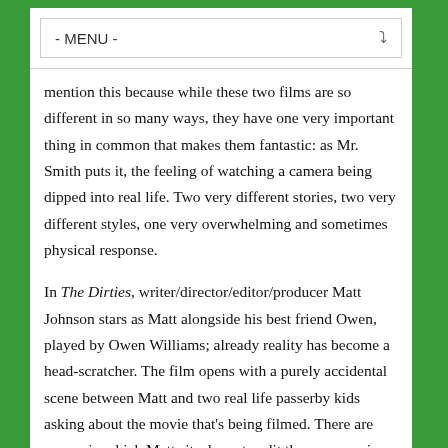- MENU -
mention this because while these two films are so different in so many ways, they have one very important thing in common that makes them fantastic: as Mr. Smith puts it, the feeling of watching a camera being dipped into real life. Two very different stories, two very different styles, one very overwhelming and sometimes physical response.
In The Dirties, writer/director/editor/producer Matt Johnson stars as Matt alongside his best friend Owen, played by Owen Williams; already reality has become a head-scratcher. The film opens with a purely accidental scene between Matt and two real life passerby kids asking about the movie that's being filmed. There are scenes in which Matt sits down to edit the very movie we are watching.  There are the sudden moments of frighteningly real bullying, the kind that is psychological and paralyzing.  Going into watching the film, I knew there was a mixture of real people and actors partaking in the action and it